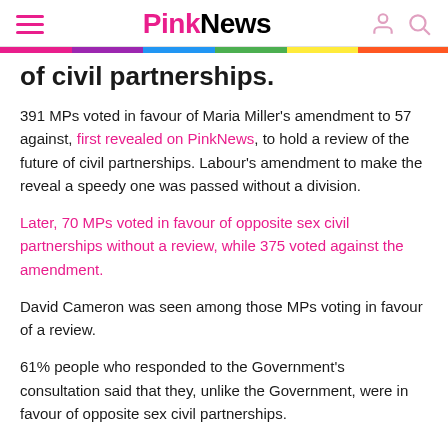PinkNews
of civil partnerships.
391 MPs voted in favour of Maria Miller's amendment to 57 against, first revealed on PinkNews, to hold a review of the future of civil partnerships. Labour's amendment to make the reveal a speedy one was passed without a division.
Later, 70 MPs voted in favour of opposite sex civil partnerships without a review, while 375 voted against the amendment.
David Cameron was seen among those MPs voting in favour of a review.
61% people who responded to the Government's consultation said that they, unlike the Government, were in favour of opposite sex civil partnerships.